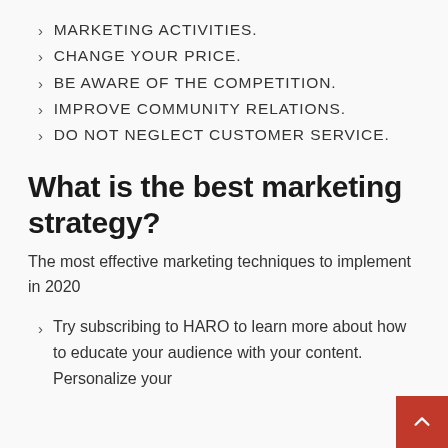MARKETING ACTIVITIES.
CHANGE YOUR PRICE.
BE AWARE OF THE COMPETITION.
IMPROVE COMMUNITY RELATIONS.
DO NOT NEGLECT CUSTOMER SERVICE.
What is the best marketing strategy?
The most effective marketing techniques to implement in 2020
Try subscribing to HARO to learn more about how to educate your audience with your content. Personalize your